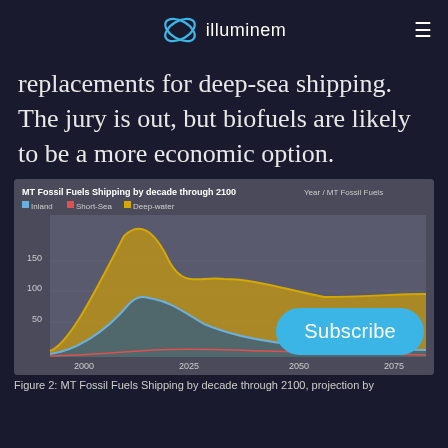illuminem
replacements for deep-sea shipping. The jury is out, but biofuels are likely to be a more economic option.
[Figure (line-chart): MT Fossil Fuels Shipping by decade through 2100]
Figure 2: MT Fossil Fuels Shipping by decade through 2100, projection by